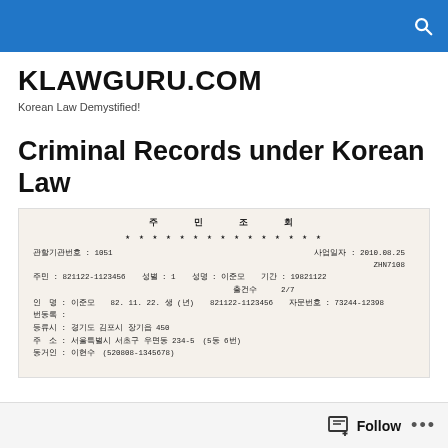KLAWGURU.COM — site header bar with search icon
KLAWGURU.COM
Korean Law Demystified!
Criminal Records under Korean Law
[Figure (photo): Scanned Korean government document showing resident registration inquiry (주민조회) with personal details, ID numbers, address, and dates in Korean text]
Follow •••